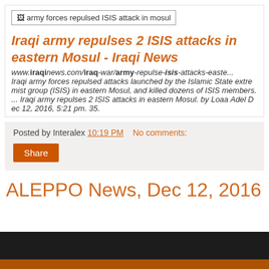[Figure (other): Broken image placeholder with alt text 'army forces repulsed ISIS attack in mosul']
Iraqi army repulses 2 ISIS attacks in eastern Mosul - Iraqi News
www.iraqinews.com/iraq-war/army-repulse-isis-attacks-easte... Iraqi army forces repulsed attacks launched by the Islamic State extremist group (ISIS) in eastern Mosul, and killed dozens of ISIS members. ... Iraqi army repulses 2 ISIS attacks in eastern Mosul. by Loaa Adel Dec 12, 2016, 5:21 pm. 35.
Posted by Interalex 10:19 PM  No comments:
Share
ALEPPO News, Dec 12, 2016
[Figure (photo): Dark image block at the bottom of the page, partially visible, with an orange/brown color at the bottom edge.]